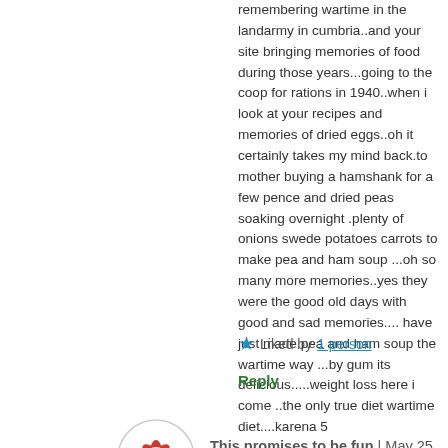remembering wartime in the landarmy in cumbria..and your site bringing memories of food during those years...going to the coop for rations in 1940..when i look at your recipes and memories of dried eggs..oh it certainly takes my mind back.to mother buying a hamshank for a few pence and dried peas soaking overnight .plenty of onions swede potatoes carrots to make pea and ham soup ...oh so many more memories..yes they were the good old days with good and sad memories.... have just made pea and ham soup the wartime way ...by gum its delicious.....weight loss here i come ..the only true diet wartime diet....karena 5
★ Liked by 1 person
Reply
[Figure (logo): Circular avatar with red geometric star/snowflake pattern on white background]
This promises to be fun | May 25, 2012 at 9:53 pm